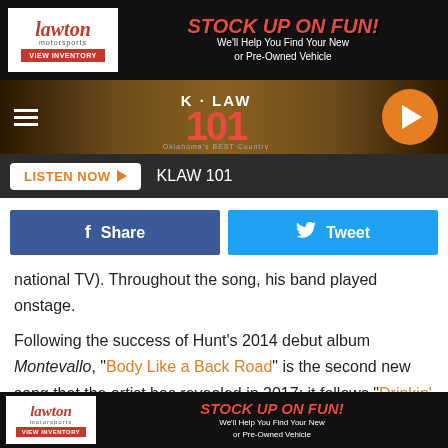[Figure (screenshot): Lawton Motorsports advertisement banner: logo on left with VIEW INVENTORY button, STOCK UP ON FUN! text in red italic, We'll Help You Find Your New or Pre-Owned Vehicle text in white]
[Figure (logo): K-LAW 101 Oklahoma's BEST Country radio station header with hamburger menu, logo in center, and orange play button on right]
LISTEN NOW ▶   KLAW 101
Share   Tweet
national TV). Throughout the song, his band played onstage.
Following the success of Hunt's 2014 debut album Montevallo, "Body Like a Back Road" is the second new song that the artist has revealed in 2017; it follows "Drinkin' Too Much," released on New Year's Day. Written by Hunt alongside Zach Crowell, Josh Osborne and Shane McAnally, "Body Like a Back Road" is a lighthearted track –
[Figure (screenshot): Lawton Motorsports bottom advertisement banner with logo and STOCK UP ON FUN! We'll Help You Find Your New or Pre-Owned Vehicle text]